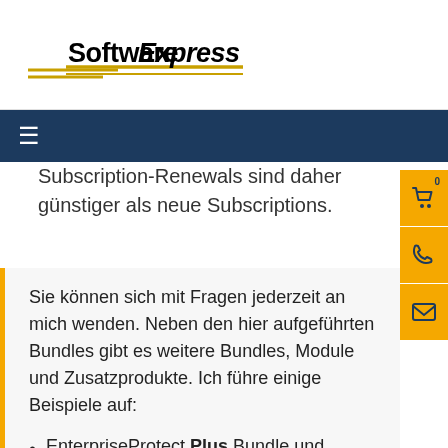Software Express
Subscription-Renewals sind daher günstiger als neue Subscriptions.
Sie können sich mit Fragen jederzeit an mich wenden. Neben den hier aufgeführten Bundles gibt es weitere Bundles, Module und Zusatzprodukte. Ich führe einige Beispiele auf:
EnterpriseProtect Plus Bundle und TotalProtect Plus Bundle. Wie die Bundles ohne "Plus", jedoch zusätzlich mit Sandstorm Modul